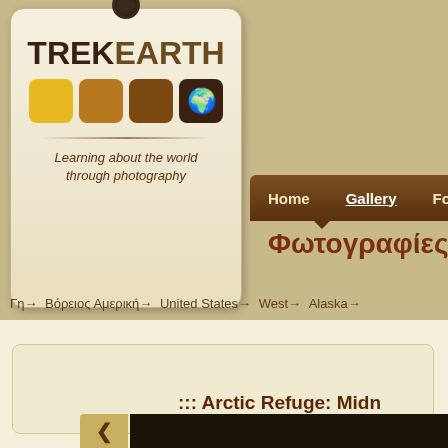[Figure (logo): TrekEarth logo tag with luggage tag design, showing TREKEARTH text, four colored squares (yellow, orange-brown, dark brown, dark brown with map icon), and tagline 'Learning about the world through photography']
Home  Gallery  Forums  C…
Φωτογραφίες
Γη → Βόρειος Αμερική → United States → West → Alaska →
::: Arctic Refuge: Midn…